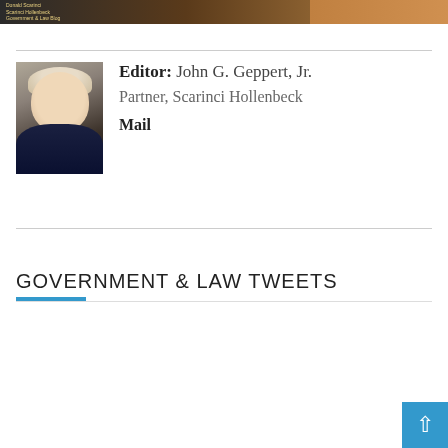[Figure (photo): Top banner image with text overlay showing book/publication details on dark background]
[Figure (photo): Headshot photo of John G. Geppert Jr., a middle-aged man in a dark suit with tie, smiling]
Editor: John G. Geppert, Jr.
Partner, Scarinci Hollenbeck
Mail
GOVERNMENT & LAW TWEETS
Tweets from Government & law
Scarinci Hollenbeck @S_H_Law · 10 Members
Follow